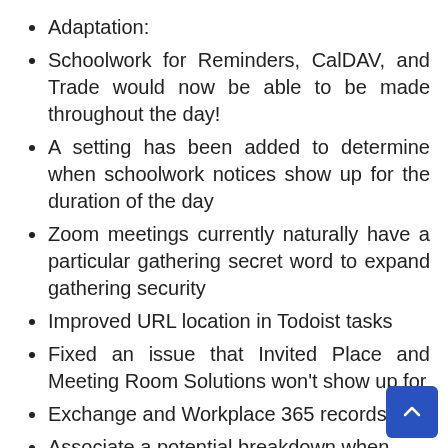Adaptation:
Schoolwork for Reminders, CalDAV, and Trade would now be able to be made throughout the day!
A setting has been added to determine when schoolwork notices show up for the duration of the day
Zoom meetings currently naturally have a particular gathering secret word to expand gathering security
Improved URL location in Todoist tasks
Fixed an issue that Invited Place and Meeting Room Solutions won't show up for
Exchange and Workplace 365 records
Associate a potential breakdown when